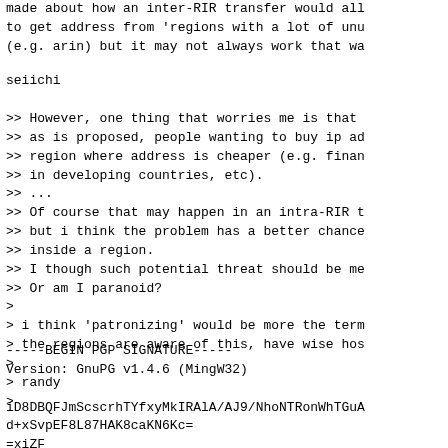made about how an inter-RIR transfer would all
to get address from 'regions with a lot of unu
(e.g. arin) but it may not always work that wa
seiichi
>> However, one thing that worries me is that
>> as is proposed, people wanting to buy ip ad
>> region where address is cheaper (e.g. finan
>> in developing countries, etc).
>> ...
>> Of course that may happen in an intra-RIR t
>> but i think the problem has a better chance
>> inside a region.
>> I though such potential threat should be me
>> Or am I paranoid?
>
> i think 'patronizing' would be more the term
> the regions are aware of this, have wise hos
>
> randy
>
-----BEGIN PGP SIGNATURE-----
Version: GnuPG v1.4.6 (MingW32)

iD8DBQFJmScscrhTYfxyMkIRAlA/AJ9/NhoNTRonWhTGuA
d+xSvpEF8L87HAK8caKN6Kc=
=xiZF
-----END PGP SIGNATURE-----